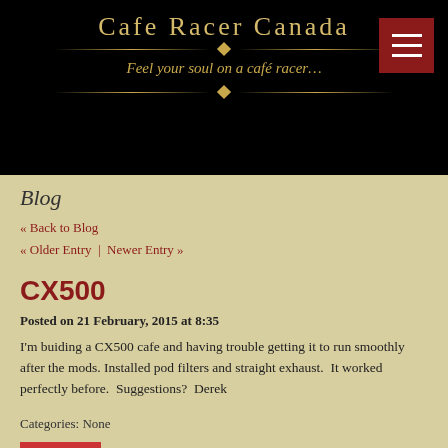Cafe Racer Canada — Feel your soul on a café racer...
Blog
« Back to Blog
« Older Entry  |  Newer Entry »
CX500
Posted on 21 February, 2015 at 8:35
I'm buiding a CX500 cafe and having trouble getting it to run smoothly after the mods. Installed pod filters and straight exhaust.  It worked perfectly before.  Suggestions?  Derek
Categories: None
Share